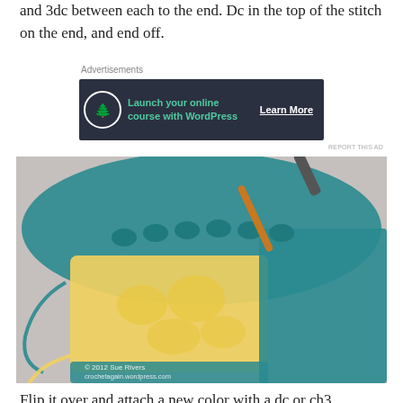and 3dc between each to the end. Dc in the top of the stitch on the end, and end off.
Advertisements
[Figure (screenshot): Advertisement banner: dark navy background with a tree/bonsai icon in a circle, green text 'Launch your online course with WordPress', white 'Learn More' button link]
REPORT THIS AD
[Figure (photo): Photograph of a crochet work in progress: teal/turquoise border being added to a yellow granny square motif, with a gold crochet hook visible at top. Copyright 2012 Sue Rivers, crochetagain.wordpress.com]
Flip it over and attach a new color with a dc or ch3.